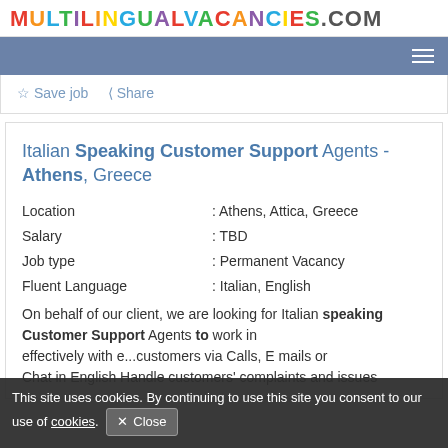MULTILINGUALVACANCIES.COM
☆ Save job   ⟨ Share
Italian Speaking Customer Support Agents - Athens, Greece
Location : Athens, Attica, Greece
Salary : TBD
Job type : Permanent Vacancy
Fluent Language : Italian, English
On behalf of our client, we are looking for Italian speaking Customer Support Agents to work in effectively with e...customers via Calls, E mails or Chat in English Handle customers' complaints and issues
This site uses cookies. By continuing to use this site you consent to our use of cookies.  Close